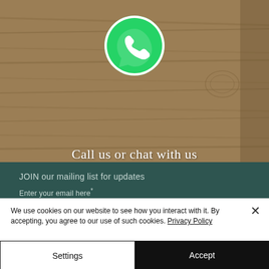[Figure (screenshot): WhatsApp logo icon (green chat bubble with white phone handset) centered above wood-texture banner]
Call us or chat with us
JOIN our mailing list for updates
Enter your email here*
Email
Subscribe Now
We use cookies on our website to see how you interact with it. By accepting, you agree to our use of such cookies. Privacy Policy
Settings
Accept